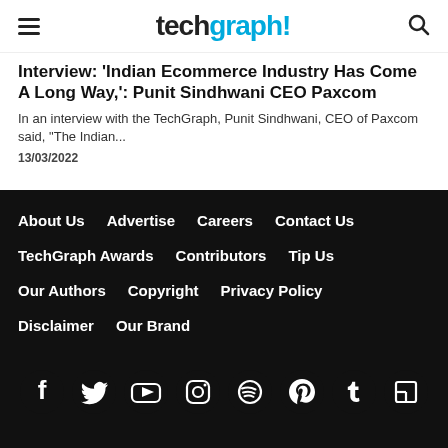techgraph!
Interview: 'Indian Ecommerce Industry Has Come A Long Way,': Punit Sindhwani CEO Paxcom
In an interview with the TechGraph, Punit Sindhwani, CEO of Paxcom said, "The Indian...
13/03/2022
About Us  Advertise  Careers  Contact Us  TechGraph Awards  Contributors  Tip Us  Our Authors  Copyright  Privacy Policy  Disclaimer  Our Brand
[Figure (illustration): Social media icons row: Facebook, Twitter, YouTube, Instagram, Spotify, Pinterest, Tumblr, Flipboard]